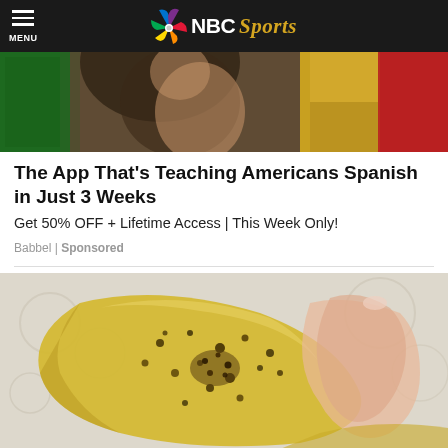NBC Sports
[Figure (photo): Woman with dark wavy hair in front of Italian flag background (green, gold, red)]
The App That's Teaching Americans Spanish in Just 3 Weeks
Get 50% OFF + Lifetime Access | This Week Only!
Babbel | Sponsored
[Figure (photo): Close-up of a hand holding a yellow/golden crispy chip or cracker with dark spices/seasoning on top, with a lacy fabric background]